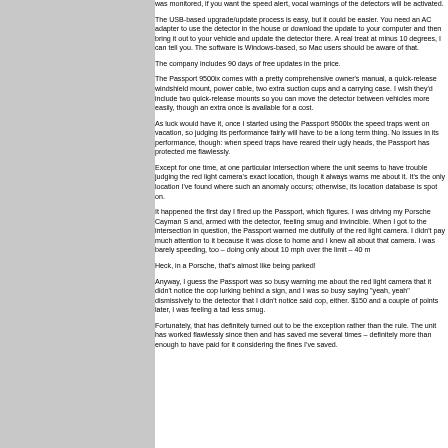was monitored, if you want the speed alert, vocal warnings of the detectors will be activated.
The USB-based upgrade/update process is easy, but it could be easier. You need an AC adapter to use the detector in the house or download the update to your computer and then bring it out to your vehicle and update the detector there. A real treat at minus 10 degrees, I can tell you. The software is Windows-based, so Mac users should be aware of that.
The company includes 90 days of free updates in the price.
The Passport 9500ix comes with a pretty comprehensive owner's manual, a quick-release windshield mount, power cable, two extra suction cups and a carrying case. I wish they'd include two quick-release mounts so you can move the detector between vehicles more easily, though an extra once is available for a cost.
As luck would have it, once I started using the Passport 9500ix the speed traps went on vacation, so judging its performance fairly will have to be a long term thing. No issues in its performance, though: when speed traps have reared their ugly heads, the Passport has protected me flawlessly.
Except for one time, at one particular intersection where the unit seems to have trouble judging the red light camera's exact location, though it always warns me about it. It's the only location I've found where such an anomaly occurs; otherwise, its location database is spot on.
It happened the first day I fired up the Passport, which figures. I was driving my Porsche Cayman S and, armed with the detector, feeling smug and invincible. When I got to the intersection in question, the Passport warned me dutifully of the red light camera. I didn't pay much attention to it because it was close to home and I knew all about that camera. I was barely speeding, too – doing only about 10 mph over the limit – 40 m
Heck, in a Porsche, that's almost like being parked!
Anyway, I guess the Passport was so busy warning me about the red light camera that it didn't notice the cop lurking behind a sign, and I was so busy saying "yeah, yeah" dismissively to the detector that I didn't notice said cop, either. $150 and a couple of points later, I was feeling a tad less smug.
Fortunately, that has definitely turned out to be the exception rather than the rule. The unit has worked flawlessly since then and has saved me several times – definitely more than enough to have paid for it considering the fines I've saved.